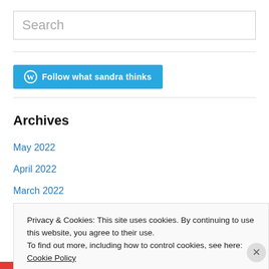Search
[Figure (other): Follow what sandra thinks button with WordPress icon]
Archives
May 2022
April 2022
March 2022
February 2022
Privacy & Cookies: This site uses cookies. By continuing to use this website, you agree to their use.
To find out more, including how to control cookies, see here: Cookie Policy
Close and accept